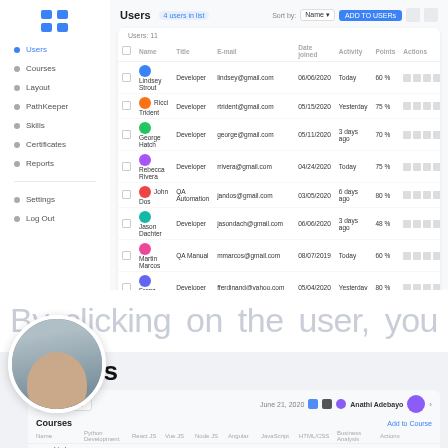[Figure (screenshot): Users admin panel screenshot showing a data table with columns: Name, Title, E-mail, Date joined, Activity, Points, Actions. Rows include: Lindsey Strout (Developer), Ricci Trident (Developer), George Hatch (Developer), Rebecca Rivera (Developer), John Dos (QA Automation), Jason Dachter (Developer), Martin Marcos (QA Manual), Franz Ferdinand (Developer), John Smith (Developer), Judith Williams (Business Analyst), Steve Jennings (Developer). Left sidebar with navigation links: Users, Courses, Layout, PathKeeper, Skills, Certificates, Reports, Settings, Log Out.]
By clicking on the user, you will be redirected to the page to see all the information about
Courses
[Figure (screenshot): Courses admin panel screenshot showing the courses interface with search bar, date, action icons, user avatar, and a courses table with columns: Name, Python Development, React JS, Vue JS, Node JS, Angular, JavaScript, HTML/CSS, Business Analysis, Actions.]